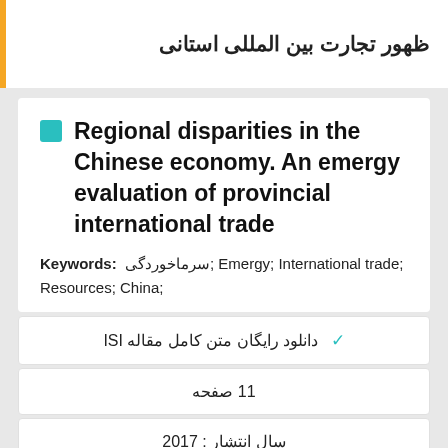ظهور تجارت بین المللی استانی
Regional disparities in the Chinese economy. An emergy evaluation of provincial international trade
Keywords: سرماخوردگی; Emergy; International trade; Resources; China;
✓ دانلود رایگان متن کامل مقاله ISI
11 صفحه
سال انتشار : 2017